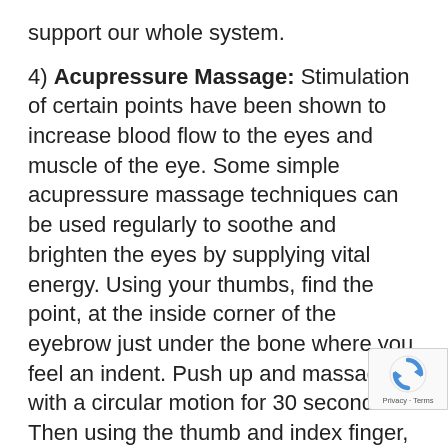support our whole system.
4) Acupressure Massage: Stimulation of certain points have been shown to increase blood flow to the eyes and muscle of the eye. Some simple acupressure massage techniques can be used regularly to soothe and brighten the eyes by supplying vital energy. Using your thumbs, find the point, at the inside corner of the eyebrow just under the bone where you feel an indent. Push up and massage with a circular motion for 30 seconds. Then using the thumb and index finger, massage the bridge of the nose near the corners of the eyes. Finally, slide down with index fingers right into the depression just underneath the highest
[Figure (logo): Google reCAPTCHA badge with recycling arrows logo and Privacy - Terms text]